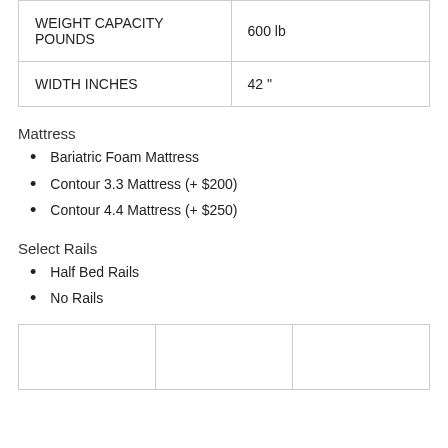| WEIGHT CAPACITY POUNDS | 600 lb |
| WIDTH INCHES | 42 " |
Mattress
Bariatric Foam Mattress
Contour 3.3 Mattress (+ $200)
Contour 4.4 Mattress (+ $250)
Select Rails
Half Bed Rails
No Rails
|  |  |  |